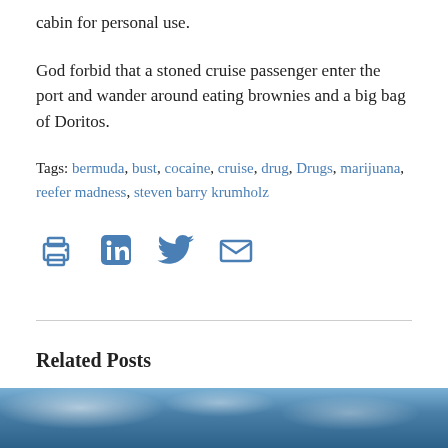cabin for personal use.
God forbid that a stoned cruise passenger enter the port and wander around eating brownies and a big bag of Doritos.
Tags: bermuda, bust, cocaine, cruise, drug, Drugs, marijuana, reefer madness, steven barry krumholz
[Figure (infographic): Social sharing icons: print, LinkedIn, Twitter, email]
Related Posts
[Figure (photo): Blue sky with clouds at bottom of page]